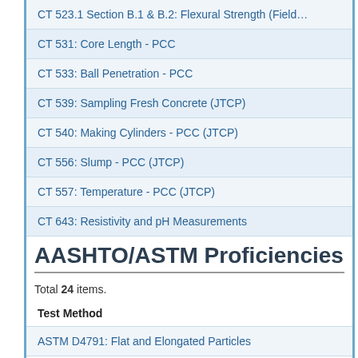CT 523.1 Section B.1 & B.2: Flexural Strength (Field…
CT 531: Core Length - PCC
CT 533: Ball Penetration - PCC
CT 539: Sampling Fresh Concrete (JTCP)
CT 540: Making Cylinders - PCC (JTCP)
CT 556: Slump - PCC (JTCP)
CT 557: Temperature - PCC (JTCP)
CT 643: Resistivity and pH Measurements
AASHTO/ASTM Proficiencies
Total 24 items.
| Test Method |
| --- |
| ASTM D4791: Flat and Elongated Particles |